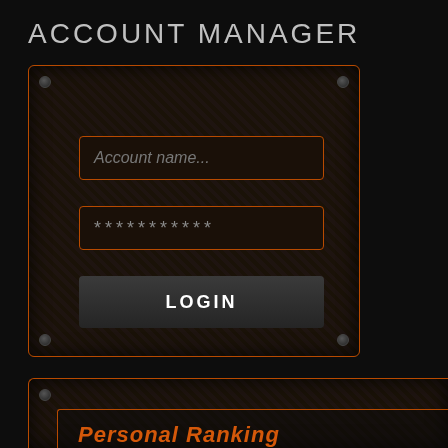ACCOUNT MANAGER
[Figure (screenshot): Login panel with dark textured background, orange border, two input fields (Account name... and password asterisks), and a LOGIN button]
| # | Character | Gear | Level | Fa... |
| --- | --- | --- | --- | --- |
| 31 | MINION | A | 101 | 48... |